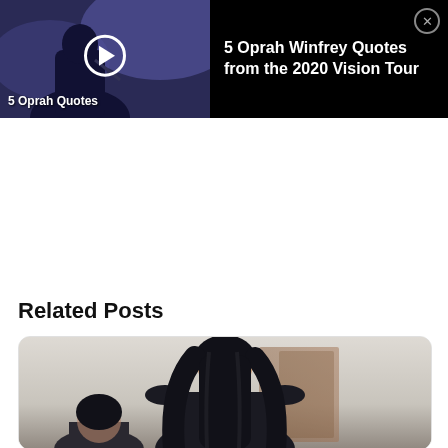[Figure (screenshot): Video advertisement banner with black background. Left side shows a video thumbnail of a woman (Oprah Winfrey) on stage with a play button overlay and text '5 Oprah Quotes'. Right side shows the title '5 Oprah Winfrey Quotes from the 2020 Vision Tour' in white text with a close (X) button in the top-right corner.]
Related Posts
[Figure (photo): A photo showing the back of a woman with long dark hair, wearing a dark jacket, viewed from behind. A partial second figure is visible in the lower left. Background appears to be an indoor setting with warm tones.]